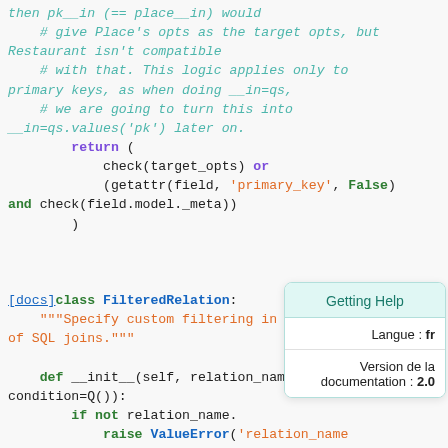Code snippet showing Python Django source code for FilteredRelation class, including comments about pk__in, place__in, primary keys, and SQL joins, plus a tooltip overlay showing Getting Help / Langue: fr / Version de la documentation: 2.0
[Figure (screenshot): Python source code with syntax highlighting showing return statement with check(target_opts), getattr(field, 'primary_key', False), and check(field.model._meta), followed by FilteredRelation class definition with docstring and __init__ method]